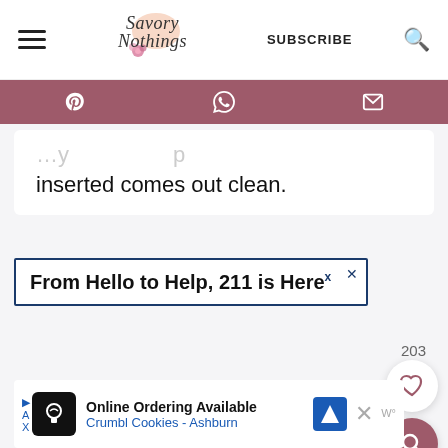[Figure (screenshot): Website header with hamburger menu, Savory Nothings script logo with floral decoration, SUBSCRIBE text, and search icon]
[Figure (infographic): Mauve/rose colored share bar with Pinterest, WhatsApp, and email icons]
inserted comes out clean.
From Hello to Help, 211 is Here
203
[Figure (infographic): Heart (like) button circle and search button circle in mauve color]
[Figure (infographic): Bottom ad banner: Online Ordering Available, Crumbl Cookies - Ashburn]